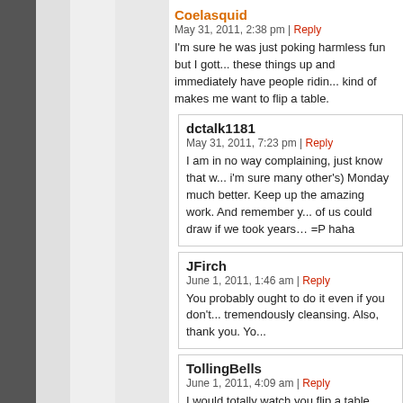Coelasquid — May 31, 2011, 2:38 pm | Reply — I'm sure he was just poking harmless fun but I gott... these things up and immediately have people ridin... kind of makes me want to flip a table.
dctalk1181 — May 31, 2011, 7:23 pm | Reply — I am in no way complaining, just know that w... i'm sure many other's) Monday much better. Keep up the amazing work. And remember y... of us could draw if we took years… =P haha
JFirch — June 1, 2011, 1:46 am | Reply — You probably ought to do it even if you don't... tremendously cleansing. Also, thank you. Yo...
TollingBells — June 1, 2011, 4:09 am | Reply — I would totally watch you flip a table.

Really, you shouldn't listen to someone critic... pretty sure all the greatest artists that ever li...

Besides, it's the Monday of this working w...